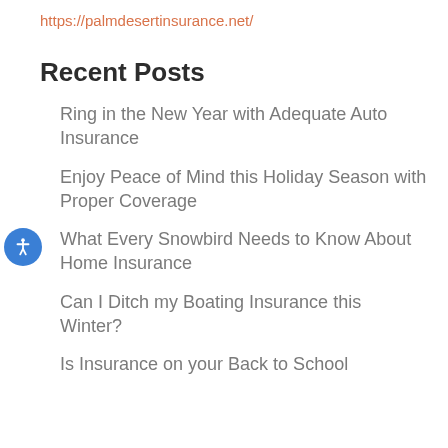https://palmdesertinsurance.net/
Recent Posts
Ring in the New Year with Adequate Auto Insurance
Enjoy Peace of Mind this Holiday Season with Proper Coverage
What Every Snowbird Needs to Know About Home Insurance
Can I Ditch my Boating Insurance this Winter?
Is Insurance on your Back to School